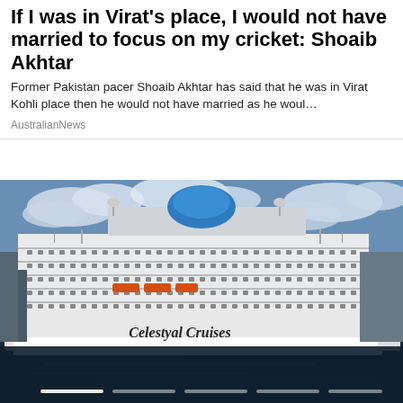If I was in Virat's place, I would not have married to focus on my cricket: Shoaib Akhtar
Former Pakistan pacer Shoaib Akhtar has said that he was in Virat Kohli place then he would not have married as he woul…
AustralianNews
[Figure (photo): A large white cruise ship named 'Celestyal Cruises' docked at a port. The ship has multiple decks, various satellite dishes and equipment on top, and a blue dome structure. The sky is partly cloudy. Orange lifeboats are visible on the side. Dark water reflects the ship in the foreground.]